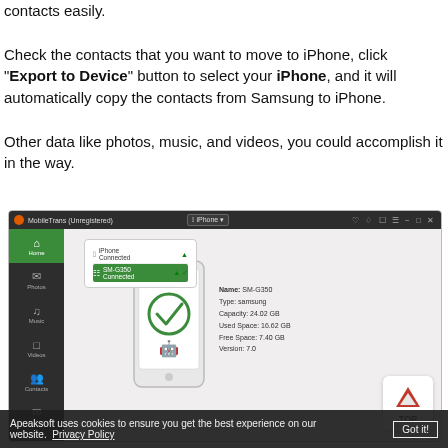contacts easily.
Check the contacts that you want to move to iPhone, click "Export to Device" button to select your iPhone, and it will automatically copy the contacts from Samsung to iPhone.
Other data like photos, music, and videos, you could accomplish it in the way.
[Figure (screenshot): MobileTrans software screenshot showing device connection interface with Samsung SM-G350 connected, sidebar with Home/Photos/Music/Videos/Contacts/Messages, and device info panel showing Name: SM-G350, Type: samsung, Capacity: 24.02 GB, Used Space: 16.62 GB, Free Space: 7.40 GB, Version: 7.0]
Apeaksoft uses cookies to ensure you get the best experience on our website. Privacy Policy  Got it!